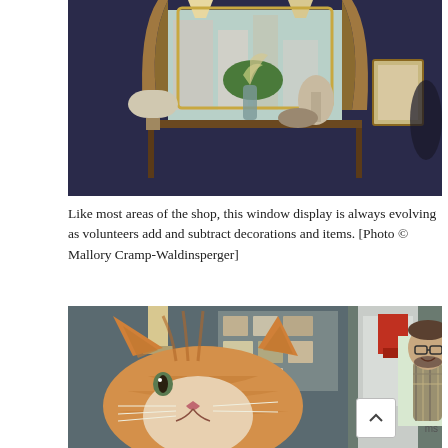[Figure (photo): Interior of a shop showing a window display with draped golden/brown curtains, a mirror, a table with a vase of flowers, lamps, a dress form mannequin, and a framed picture. City buildings visible through the window.]
Like most areas of the shop, this window display is always evolving as volunteers add and subtract decorations and items. [Photo © Mallory Cramp-Waldinsperger]
[Figure (photo): A close-up photo of an orange and white tabby cat in the foreground, with a man wearing glasses and a plaid shirt visible in the background of what appears to be the same shop interior.]